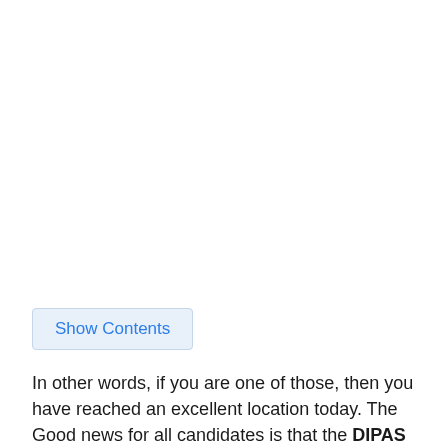Show Contents
In other words, if you are one of those, then you have reached an excellent location today. The Good news for all candidates is that the DIPAS paper solution may be available on DIPAS